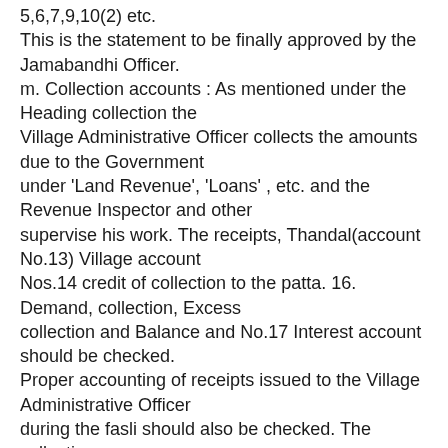5,6,7,9,10(2) etc. This is the statement to be finally approved by the Jamabandhi Officer. m. Collection accounts : As mentioned under the Heading collection the Village Administrative Officer collects the amounts due to the Government under 'Land Revenue', 'Loans' , etc. and the Revenue Inspector and other supervise his work. The receipts, Thandal(account No.13) Village account Nos.14 credit of collection to the patta. 16. Demand, collection, Excess collection and Balance and No.17 Interest account should be checked. Proper accounting of receipts issued to the Village Administrative Officer during the fasli should also be checked. The collection